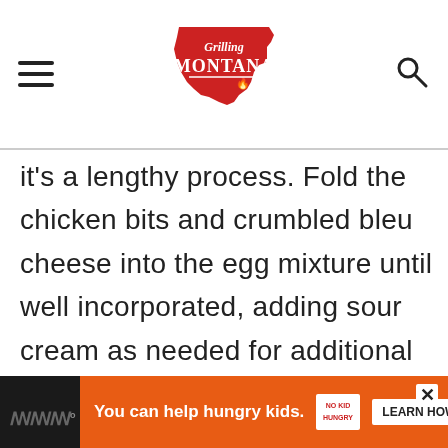[Figure (logo): Grilling Montana logo - red Montana state shape with white text reading 'Grilling MONTANA' with a small flame icon]
it’s a lengthy process. Fold the chicken bits and crumbled bleu cheese into the egg mixture until well incorporated, adding sour cream as needed for additional moisture.
You can help hungry kids. NO KID HUNGRY LEARN HOW